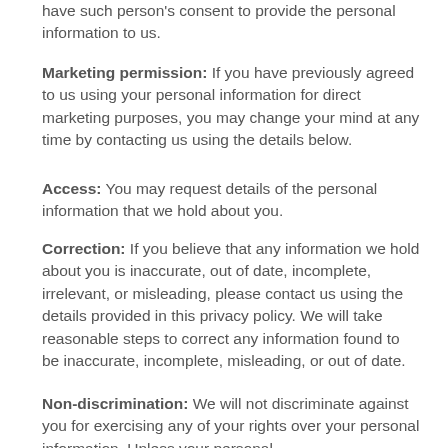have such person's consent to provide the personal information to us.
Marketing permission: If you have previously agreed to us using your personal information for direct marketing purposes, you may change your mind at any time by contacting us using the details below.
Access: You may request details of the personal information that we hold about you.
Correction: If you believe that any information we hold about you is inaccurate, out of date, incomplete, irrelevant, or misleading, please contact us using the details provided in this privacy policy. We will take reasonable steps to correct any information found to be inaccurate, incomplete, misleading, or out of date.
Non-discrimination: We will not discriminate against you for exercising any of your rights over your personal information. Unless your personal